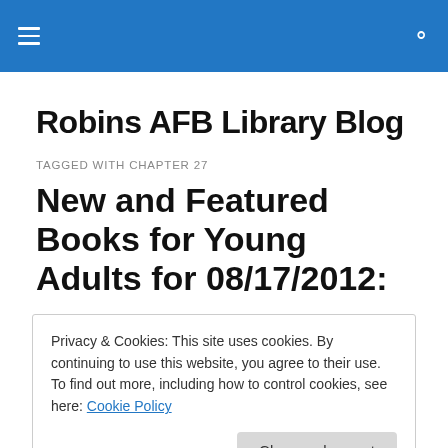Robins AFB Library Blog
Robins AFB Library Blog
TAGGED WITH CHAPTER 27
New and Featured Books for Young Adults for 08/17/2012:
Privacy & Cookies: This site uses cookies. By continuing to use this website, you agree to their use.
To find out more, including how to control cookies, see here: Cookie Policy
Close and accept
A Hero For WondLa by Tony DiTerlizzi